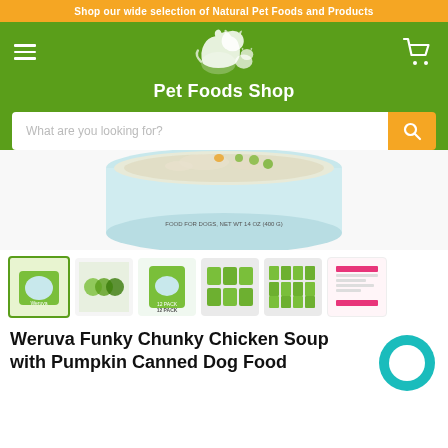Shop our wide selection of Natural Pet Foods and Products
[Figure (logo): Pet Foods Shop logo with dog and cat silhouette and text Pet Foods Shop on green background]
What are you looking for?
[Figure (photo): Weruva Funky Chunky Chicken Soup canned dog food product photo showing top of can with food visible]
[Figure (photo): Six product thumbnail images of Weruva Funky Chunky Chicken Soup including single cans, multipacks, and product information sheet]
Weruva Funky Chunky Chicken Soup with Pumpkin Canned Dog Food